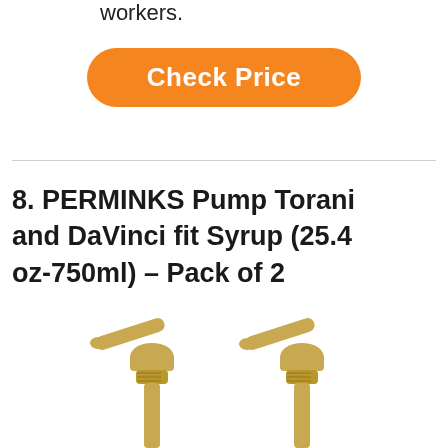workers.
[Figure (other): Orange rounded rectangle button with white bold text 'Check Price']
8. PERMINKS Pump Torani and DaVinci fit Syrup (25.4 oz-750ml) – Pack of 2
[Figure (photo): Two golden/tan colored syrup pump dispensers side by side, showing the pump head and nozzle mechanism]